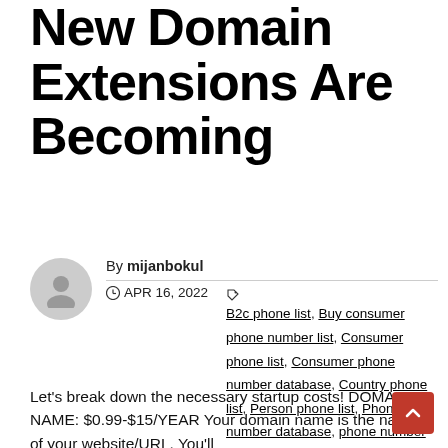New Domain Extensions Are Becoming
By mijanbokul
APR 16, 2022  B2c phone list, Buy consumer phone number list, Consumer phone list, Consumer phone number database, Country phone list, Person phone list, Phone number database, phone number list
Let's break down the necessary startup costs! DOMAIN NAME: $0.99-$15/YEAR Your domain name is the name of your website/URL. You'll